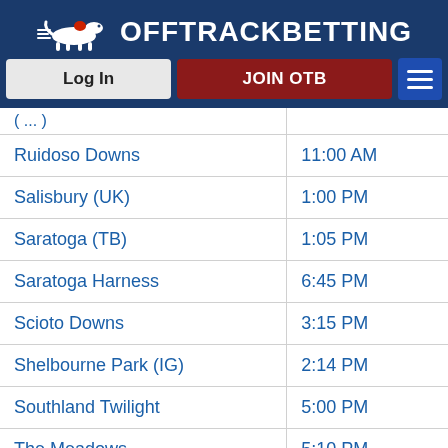OffTrackBetting
| Track | Time |
| --- | --- |
| Ruidoso Downs | 11:00 AM |
| Salisbury (UK) | 1:00 PM |
| Saratoga (TB) | 1:05 PM |
| Saratoga Harness | 6:45 PM |
| Scioto Downs | 3:15 PM |
| Shelbourne Park (IG) | 2:14 PM |
| Southland Twilight | 5:00 PM |
| The Meadows | 5:10 PM |
| Tioga Downs | 6:15 PM |
| Tralee (IG) | 2:46 PM |